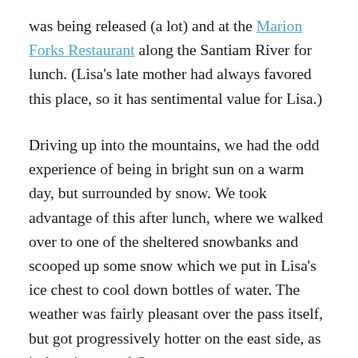was being released (a lot) and at the Marion Forks Restaurant along the Santiam River for lunch. (Lisa's late mother had always favored this place, so it has sentimental value for Lisa.)
Driving up into the mountains, we had the odd experience of being in bright sun on a warm day, but surrounded by snow. We took advantage of this after lunch, where we walked over to one of the sheltered snowbanks and scooped up some snow which we put in Lisa's ice chest to cool down bottles of water. The weather was fairly pleasant over the pass itself, but got progressively hotter on the east side, as it does in central Oregon.
We stopped again an hour later so I could take a blood